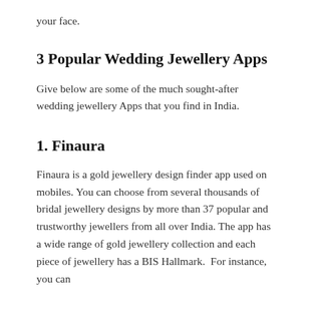your face.
3 Popular Wedding Jewellery Apps
Give below are some of the much sought-after wedding jewellery Apps that you find in India.
1. Finaura
Finaura is a gold jewellery design finder app used on mobiles. You can choose from several thousands of bridal jewellery designs by more than 37 popular and trustworthy jewellers from all over India. The app has a wide range of gold jewellery collection and each piece of jewellery has a BIS Hallmark.  For instance, you can